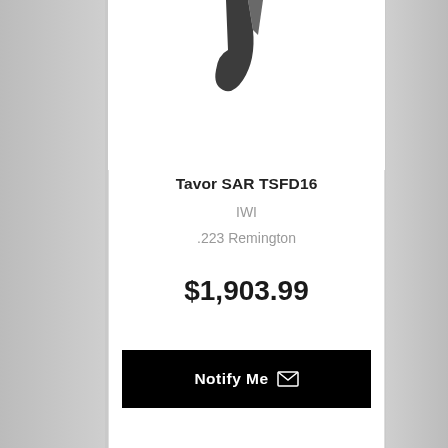[Figure (photo): Partial view of a firearm (rifle part) at the top of the first product card]
Tavor SAR TSFD16
IWI
.223 Remington
$1,903.99
Notify Me
Out of Stock
[Figure (photo): Black semi-automatic pistol shown in profile view on the second product card]